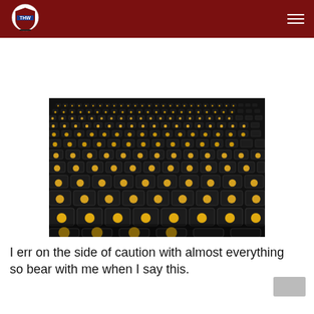THW (The Hockey Writers) - logo and navigation
[Figure (photo): Rows of empty black arena seats with golden/amber cup holders, viewed from a low angle perspective, dark and dramatic lighting]
I err on the side of caution with almost everything so bear with me when I say this.